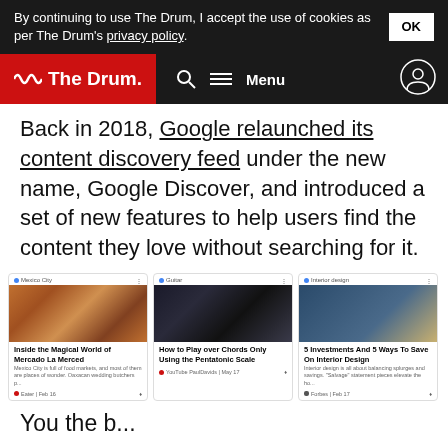By continuing to use The Drum, I accept the use of cookies as per The Drum's privacy policy. OK
The Drum — Menu
Back in 2018, Google relaunched its content discovery feed under the new name, Google Discover, and introduced a set of new features to help users find the content they love without searching for it.
[Figure (screenshot): Google Discover feed showing three content cards: 'Inside the Magical World of Mercado La Merced' (Mexico City), 'How to Play over Chords Only Using the Pentatonic Scale' (Guitar/YouTube), and '5 Investments And 5 Ways To Save On Interior Design' (Interior Design/Forbes)]
You the b...